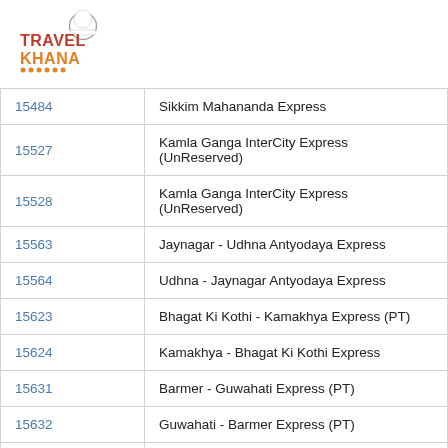[Figure (logo): Travel Khana logo with chef hat icon, orange and dark blue text]
| 15484 | Sikkim Mahananda Express |
| 15527 | Kamla Ganga InterCity Express (UnReserved) |
| 15528 | Kamla Ganga InterCity Express (UnReserved) |
| 15563 | Jaynagar - Udhna Antyodaya Express |
| 15564 | Udhna - Jaynagar Antyodaya Express |
| 15623 | Bhagat Ki Kothi - Kamakhya Express (PT) |
| 15624 | Kamakhya - Bhagat Ki Kothi Express |
| 15631 | Barmer - Guwahati Express (PT) |
| 15632 | Guwahati - Barmer Express (PT) |
| 15632-Slip | Guwahati - Bikaner Express (PT) |